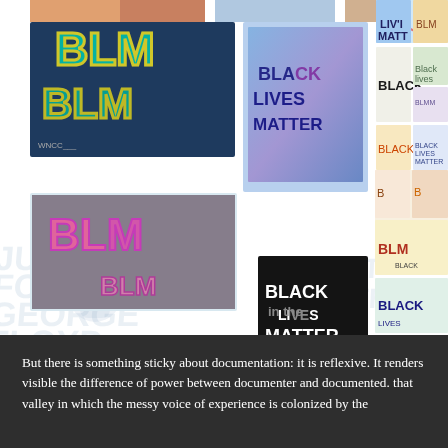[Figure (photo): Collage/grid of Black Lives Matter graffiti, signs, and street art images. Includes large colorful BLM graffiti in teal/yellow bubble letters, 'Black Lives Matter' in purple/blue graffiti, pink BLM graffiti, a black sign reading BLACK LIVES MATTER, numerous smaller images of BLM-related text and graffiti in various styles. Background shows faded/watermark-style large text including 'JUSTICE FOR GEORGE FLOYD' and 'I CAN'T BREATHE'.]
But there is something sticky about documentation: it is reflexive. It renders visible the difference of power between documenter and documented. that valley in which the messy voice of experience is colonized by the